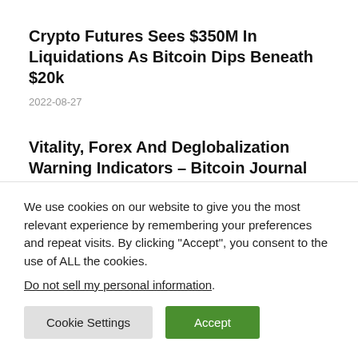Crypto Futures Sees $350M In Liquidations As Bitcoin Dips Beneath $20k
2022-08-27
Vitality, Forex And Deglobalization Warning Indicators – Bitcoin Journal
2022-08-27
We use cookies on our website to give you the most relevant experience by remembering your preferences and repeat visits. By clicking “Accept”, you consent to the use of ALL the cookies.
Do not sell my personal information.